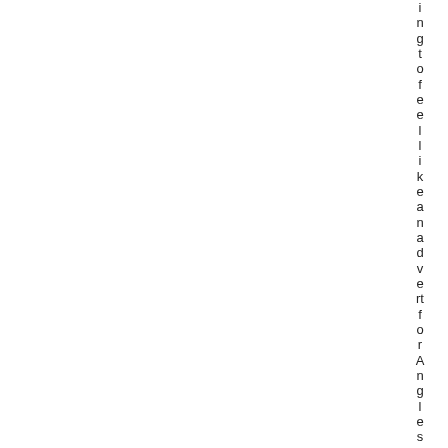[Figure (other): Page showing two vertical columns/panels: a white left panel and a light blue-grey middle panel, with vertical text reading 'ngtofeel like an advert for Angles, P' along the right edge, appearing to be a continuation of text rotated 90 degrees.]